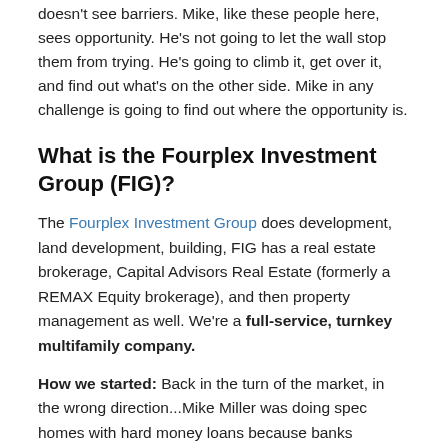doesn't see barriers. Mike, like these people here, sees opportunity. He's not going to let the wall stop them from trying. He's going to climb it, get over it, and find out what's on the other side. Mike in any challenge is going to find out where the opportunity is.
What is the Fourplex Investment Group (FIG)?
The Fourplex Investment Group does development, land development, building, FIG has a real estate brokerage, Capital Advisors Real Estate (formerly a REMAX Equity brokerage), and then property management as well. We're a full-service, turnkey multifamily company.
How we started: Back in the turn of the market, in the wrong direction...Mike Miller was doing spec homes with hard money loans because banks wouldn't lend at the time and I was selling them as a regular realtor. Great experience. We sat in the office and said...
Where are some opportunities in the marketplace that we can